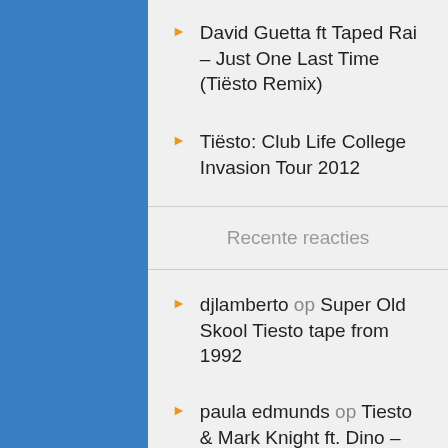David Guetta ft Taped Rai – Just One Last Time (Tiësto Remix)
Tiësto: Club Life College Invasion Tour 2012
Recente reacties
djlamberto op Super Old Skool Tiesto tape from 1992
paula edmunds op Tiesto & Mark Knight ft. Dino – Beautiful World (The Ecstasy